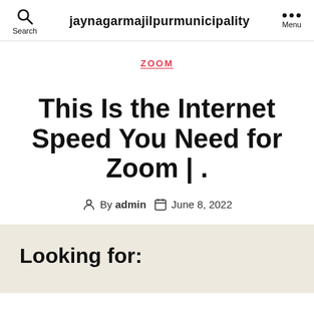jaynagarmajilpurmunicipality
ZOOM
This Is the Internet Speed You Need for Zoom | .
By admin   June 8, 2022
Looking for: